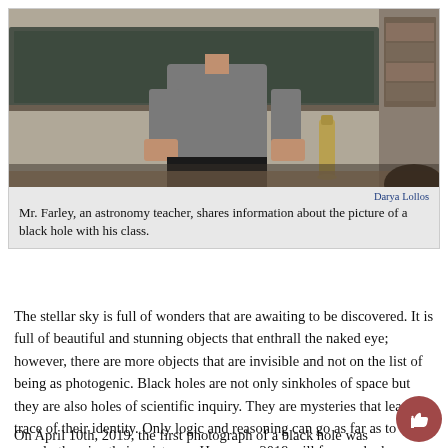[Figure (photo): A teacher (Mr. Farley, an astronomy teacher) standing in front of a chalkboard in a classroom, holding something, with a water bottle on the desk and a student visible in the foreground.]
Darya Lollos
Mr. Farley, an astronomy teacher, shares information about the picture of a black hole with his class.
The stellar sky is full of wonders that are awaiting to be discovered. It is full of beautiful and stunning objects that enthrall the naked eye; however, there are more objects that are invisible and not on the list of being as photogenic. Black holes are not only sinkholes of space but they are also holes of scientific inquiry. They are mysteries that leave no trace of their identity. Only logic and reasoning can go as far as to merely theorize their existence. However, 2019 will forever be known as the year we took a giant leap to help uncover one of the darkest mysteries of the universe.
On April 10th, 2019, the first photograph of a black hole was revealed to